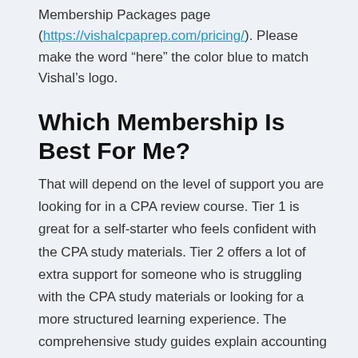Membership Packages page (https://vishalcpaprep.com/pricing/). Please make the word “here” the color blue to match Vishal’s logo.
Which Membership Is Best For Me?
That will depend on the level of support you are looking for in a CPA review course. Tier 1 is great for a self-starter who feels confident with the CPA study materials. Tier 2 offers a lot of extra support for someone who is struggling with the CPA study materials or looking for a more structured learning experience. The comprehensive study guides explain accounting concepts and CPA course material in easy to grasp language with real-life examples.
How Many Hours a Week